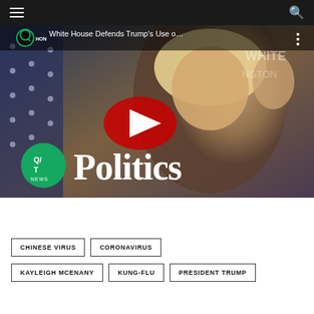Navigation bar with hamburger menu and search icon
[Figure (screenshot): YouTube video thumbnail showing a press briefing with a blonde woman at the White House podium, with a YouTube play button overlay. Video title: 'White House Defends Trump's Use o…'. Overlay text reads 'Politics' in large white letters, with Q/T News logo in green circle.]
CHINESE VIRUS
CORONAVIRUS
KAYLEIGH MCENANY
KUNG-FLU
PRESIDENT TRUMP